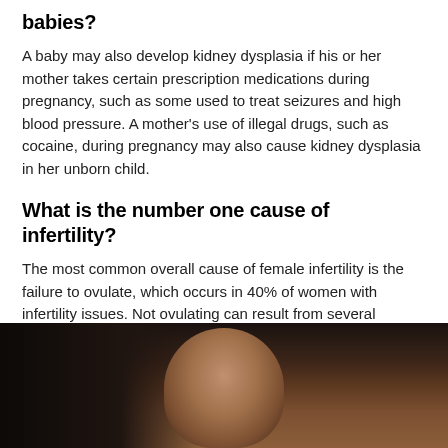babies?
A baby may also develop kidney dysplasia if his or her mother takes certain prescription medications during pregnancy, such as some used to treat seizures and high blood pressure. A mother's use of illegal drugs, such as cocaine, during pregnancy may also cause kidney dysplasia in her unborn child.
What is the number one cause of infertility?
The most common overall cause of female infertility is the failure to ovulate, which occurs in 40% of women with infertility issues. Not ovulating can result from several causes, such as: Ovarian or gynecological conditions, such as primary ovarian insufficiency (POI) or polycystic ovary syndrome (PCOS)
[Figure (photo): A woman with dark curly hair photographed indoors against a dark background]